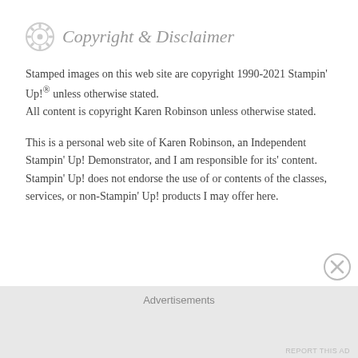Copyright & Disclaimer
Stamped images on this web site are copyright 1990-2021 Stampin' Up!® unless otherwise stated.
All content is copyright Karen Robinson unless otherwise stated.
This is a personal web site of Karen Robinson, an Independent Stampin' Up! Demonstrator, and I am responsible for its' content. Stampin' Up! does not endorse the use of or contents of the classes, services, or non-Stampin' Up! products I may offer here.
Advertisements